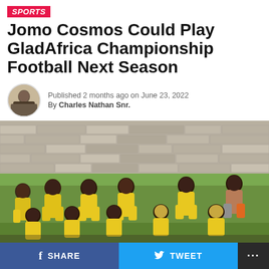SPORTS
Jomo Cosmos Could Play GladAfrica Championship Football Next Season
Published 2 months ago on June 23, 2022
By Charles Nathan Snr.
[Figure (photo): Group photo of young football players in yellow and navy Puma kits, posed in two rows on a grass field with a stone wall in the background. There are 11 players; one is the goalkeeper in a grey/orange kit.]
SHARE   TWEET   ...